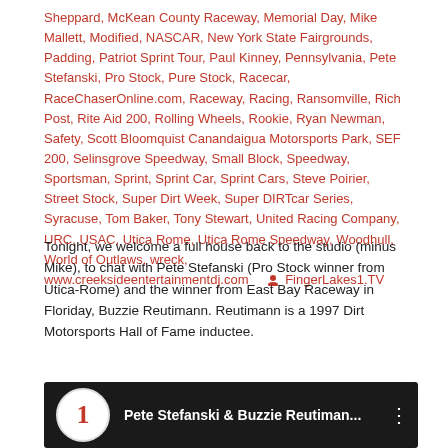Sheppard, McKean County Raceway, Memorial Day, Mike Mallett, Modified, NASCAR, New York State Fairgrounds, Padding, Patriot Sprint Tour, Paul Kinney, Pennsylvania, Pete Stefanski, Pro Stock, Pure Stock, Racecar, RaceChaserOnline.com, Raceway, Racing, Ransomville, Rich Post, Rite Aid 200, Rolling Wheels, Rookie, Ryan Newman, Safety, Scott Bloomquist Canandaigua Motorsports Park, SEF 200, Selinsgrove Speedway, Small Block, Speedway, Sportsman, Sprint, Sprint Car, Sprint Cars, Steve Poirier, Street Stock, Super Dirt Week, Super DIRTcar Series, Syracuse, Tom Baker, Tony Stewart, United Racing Company, URC, USAC, Utica Rome, Utica Rome Speedway, Woodhull, World of Outlaws, wreck, www.creeksideentertainmentdj.com   FingerLakes1.TV
Tonight, we welcome a full house back to the studio (minus Mike), to chat with Pete Stefanski (Pro Stock winner from Utica-Rome) and the winner from East Bay Raceway in Floriday, Buzzie Reutimann. Reutimann is a 1997 Dirt Motorsports Hall of Fame inductee.
[Figure (screenshot): YouTube video thumbnail showing Pete Stefanski & Buzzie Reutiman... with a FingerLakes1 logo circle on dark background]